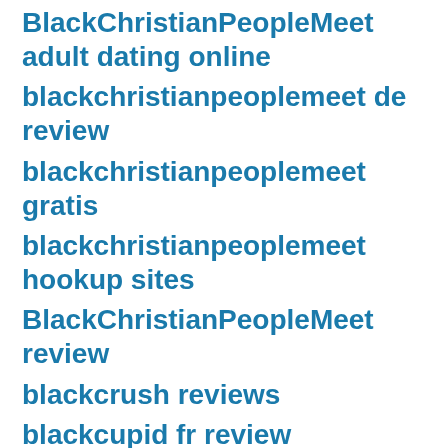BlackChristianPeopleMeet adult dating online
blackchristianpeoplemeet de review
blackchristianpeoplemeet gratis
blackchristianpeoplemeet hookup sites
BlackChristianPeopleMeet review
blackcrush reviews
blackcupid fr review
BlackCupid free trial
blackcupid funziona